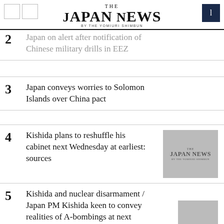THE JAPAN NEWS BY THE YOMIURI SHIMBUN
2 Japan on alert after notification of Chinese military drills in EEZ
3 Japan conveys worries to Solomon Islands over China pact
4 Kishida plans to reshuffle his cabinet next Wednesday at earliest: sources
5 Kishida and nuclear disarmament / Japan PM Kishida keen to convey realities of A-bombings at next year's G7 summit in Hiroshima